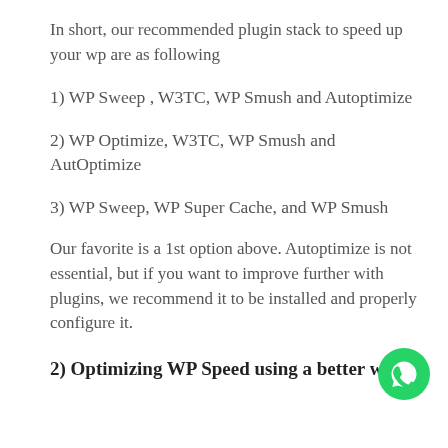In short, our recommended plugin stack to speed up your wp are as following
1) WP Sweep , W3TC, WP Smush and Autoptimize
2) WP Optimize, W3TC, WP Smush and AutOptimize
3) WP Sweep, WP Super Cache, and WP Smush
Our favorite is a 1st option above. Autoptimize is not essential, but if you want to improve further with plugins, we recommend it to be installed and properly configure it.
2) Optimizing WP Speed using a better web